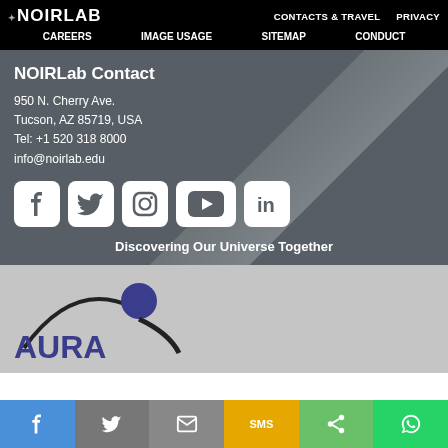NOIRLab | CONTACTS & TRAVEL | PRIVACY | CAREERS | IMAGE USAGE | SITEMAP | CONDUCT
NOIRLab Contact
950 N. Cherry Ave.
Tucson, AZ 85719, USA
Tel: +1 520 318 8000
info@noirlab.edu
[Figure (infographic): Social media icons: Facebook, Twitter, Instagram, YouTube, LinkedIn]
Discovering Our Universe Together
[Figure (logo): AURA logo with stylized figure and arc]
Social share bar: Facebook, Twitter, Email, SMS, Share, WhatsApp